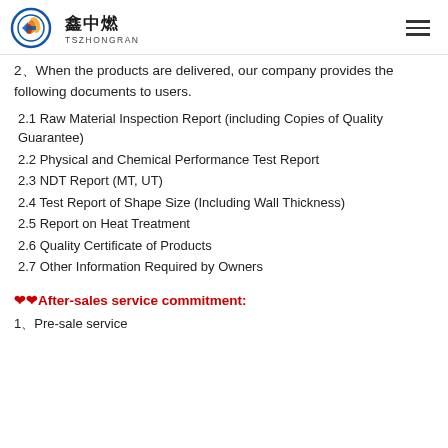鑫中燃 TSZHONGRAN
2、When the products are delivered, our company provides the following documents to users.
2.1 Raw Material Inspection Report (including Copies of Quality Guarantee)
2.2 Physical and Chemical Performance Test Report
2.3 NDT Report (MT, UT)
2.4 Test Report of Shape Size (Including Wall Thickness)
2.5 Report on Heat Treatment
2.6 Quality Certificate of Products
2.7 Other Information Required by Owners
❤❤After-sales service commitment:
1、Pre-sale service